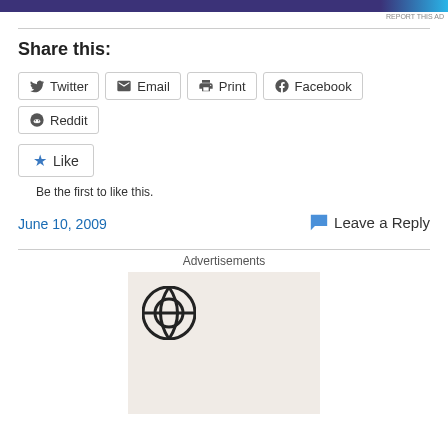[Figure (other): Advertisement banner strip in dark purple and cyan colors with REPORT THIS AD text]
Share this:
[Figure (other): Share buttons row: Twitter, Email, Print, Facebook, Reddit]
[Figure (other): Like button with star icon]
Be the first to like this.
June 10, 2009
Leave a Reply
Advertisements
[Figure (logo): WordPress logo on beige/pink background advertisement box]